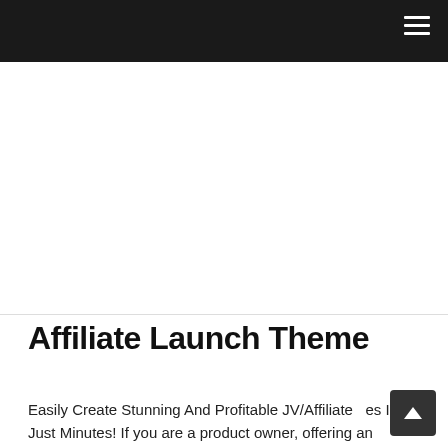☰
Affiliate Launch Theme
Easily Create Stunning And Profitable JV/Affiliate Pages In Just Minutes! If you are a product owner, offering an affiliate program is a must. This is because this wi